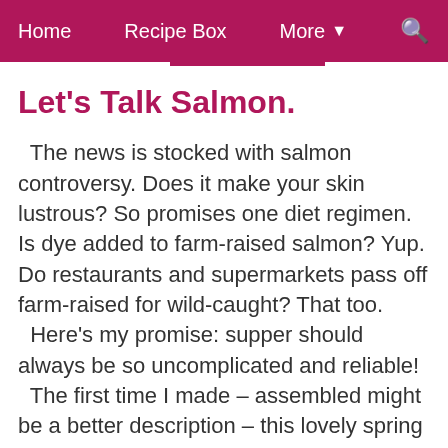Home | Recipe Box | More ▾ | 🔍
Let's Talk Salmon.
The news is stocked with salmon controversy. Does it make your skin lustrous? So promises one diet regimen. Is dye added to farm-raised salmon? Yup. Do restaurants and supermarkets pass off farm-raised for wild-caught? That too.
  Here's my promise: supper should always be so uncomplicated and reliable!
  The first time I made – assembled might be a better description – this lovely spring combination, it took less than an hour, including, while the oven heated